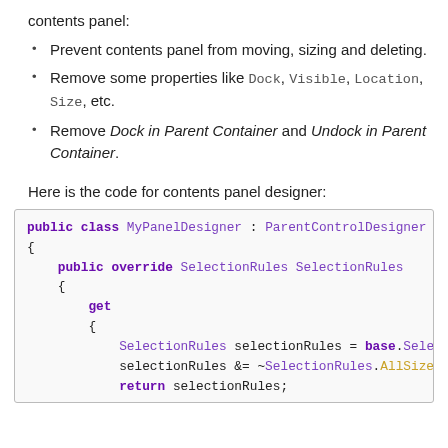contents panel:
Prevent contents panel from moving, sizing and deleting.
Remove some properties like Dock, Visible, Location, Size, etc.
Remove Dock in Parent Container and Undock in Parent Container.
Here is the code for contents panel designer:
[Figure (screenshot): Code block showing C# class MyPanelDesigner inheriting ParentControlDesigner with SelectionRules property override using get accessor that assigns base.SelectionRules, applies &= ~SelectionRules.AllSize and returns selectionRules.]